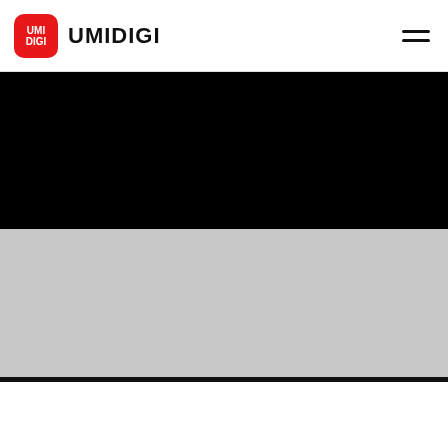UMIDIGI
[Figure (illustration): A TV or monitor illustration showing a screen with a black upper half and light grey lower half, with a thick black bottom bezel, displayed on a white background. A rounded pill-shaped black stand/base is below the screen.]